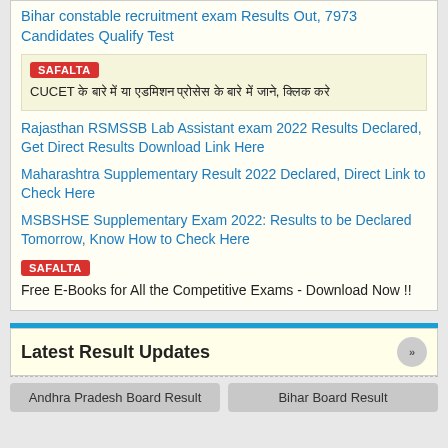Bihar constable recruitment exam Results Out, 7973 Candidates Qualify Test
SAFALTA
CUCET के बारे में या एडमिशन प्रोसेस के बारे में जाने, क्लिक करे
Rajasthan RSMSSB Lab Assistant exam 2022 Results Declared, Get Direct Results Download Link Here
Maharashtra Supplementary Result 2022 Declared, Direct Link to Check Here
MSBSHSE Supplementary Exam 2022: Results to be Declared Tomorrow, Know How to Check Here
SAFALTA
Free E-Books for All the Competitive Exams - Download Now !!
Latest Result Updates
Andhra Pradesh Board Result
Bihar Board Result